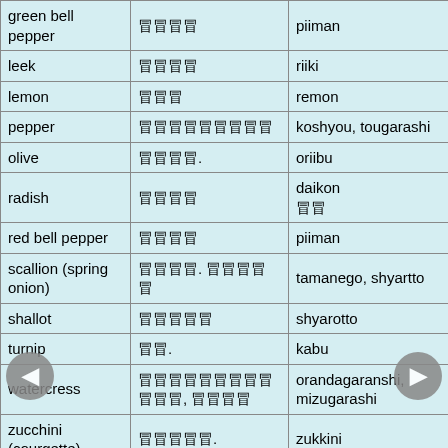| green bell pepper | ピーマン | piiman |
| leek | リーキ | riiki |
| lemon | レモン | remon |
| pepper | コショウ、トウガラシ | koshyou, tougarashi |
| olive | オリーブ. | oriibu |
| radish | 大根 | daikon 大根 |
| red bell pepper | ピーマン | piiman |
| scallion (spring onion) | たまねご. シャロット | tamanego, shyartto |
| shallot | シャロット | shyarotto |
| turnip | かぶ. | kabu |
| watercress | オランダガラシ、ミズガラシ, 水辛子 | orandagaranshi, mizugarashi |
| zucchini (courgette) | ズッキーニ. | zukkini |